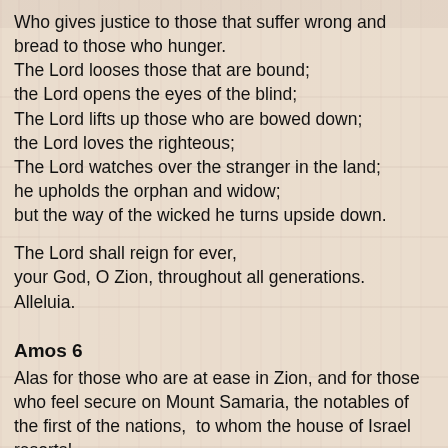Who gives justice to those that suffer wrong and bread to those who hunger.
The Lord looses those that are bound;
the Lord opens the eyes of the blind;
The Lord lifts up those who are bowed down;
the Lord loves the righteous;
The Lord watches over the stranger in the land;
he upholds the orphan and widow;
but the way of the wicked he turns upside down.
The Lord shall reign for ever,
your God, O Zion, throughout all generations.
Alleluia.
Amos 6
Alas for those who are at ease in Zion, and for those who feel secure on Mount Samaria, the notables of the first of the nations,  to whom the house of Israel resorts!
Cross over to Calneh, and see; from there go to Hamath the great; then go down to Gath of the Philistines.
Are you better than these kingdoms?
Or is your territory greater than their territory, O you that put